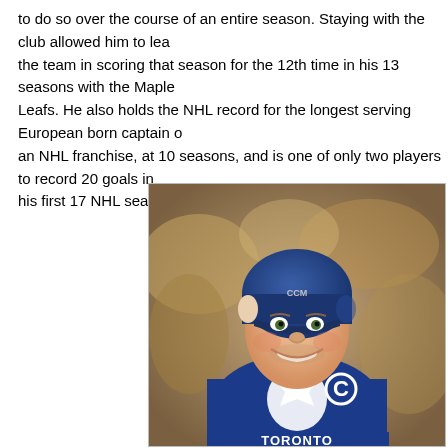to do so over the course of an entire season. Staying with the club allowed him to lead the team in scoring that season for the 12th time in his 13 seasons with the Maple Leafs. He also holds the NHL record for the longest serving European born captain of an NHL franchise, at 10 seasons, and is one of only two players to record 20 goals in his first 17 NHL seasons.
[Figure (photo): A hockey player wearing a blue Toronto Maple Leafs jersey with a captain's 'C' on the chest and a blue helmet, smiling. The jersey has the TORONTO wordmark visible at the bottom. The player appears to be on the ice with a blurred background.]